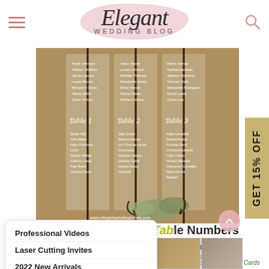Elegant WEDDING BLOG
[Figure (photo): Wedding seating chart on acrylic panels displayed on a decorative iron stand with botanical greenery at the bottom, showing guest names organized by table.]
[Figure (other): Side promotional banner: GET 15% OFF]
[Figure (other): Dropdown navigation menu with links: Professional Videos, Laser Cutting Invites, 2022 New Arrivals, Affordable Invitations, Blue Color Invitations, Burgundy Invitations]
3. Table Numbers Cards
on table this frame will be used to help guests find their seat. Once a guest finds their seating chart, they will need to find their table with the assigned table number. These table numbers are essential in keeping things organized and running smoothly.
→ Click to Order Acrylic Table Number Cards
[Figure (photo): Two bottom photos showing wedding table number card details.]